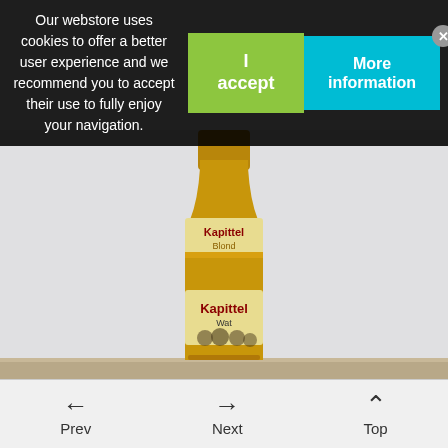Our webstore uses cookies to offer a better user experience and we recommend you to accept their use to fully enjoy your navigation.
I accept
More information
[Figure (photo): A bottle of Kapittel beer (Belgian beer) showing two labels: upper label reads 'Kapittel Blond' and lower label reads 'Kapittel Wat' with monks depicted, photographed against a grey background on a wooden surface.]
Prev
Next
Top